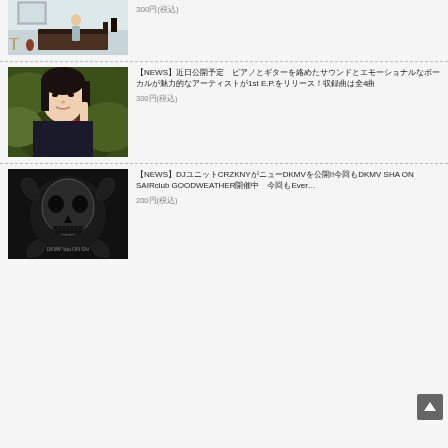[Figure (photo): Photo of a person standing near a piano in a bright room with a mirror]
300円(税込)
[Figure (photo): Photo of a young woman with flowers and foliage in the background]
【NEWS】近日公開予定　ピアノとギターを絡めたサウンドとエモーショナルなボーカルが魅力的なアーティストが1st E.P.をリリース！収録曲は全4曲
300円(税込)
[Figure (photo): Black and white photo of a skull-like graphic design with text overlay]
【NEWS】DJユニットCRZKNYがニューDKMVを公開!!今回もDKMV SHA ON SAIRclub GOODWEATHER開催中　今回もEVER...
200円(税込)